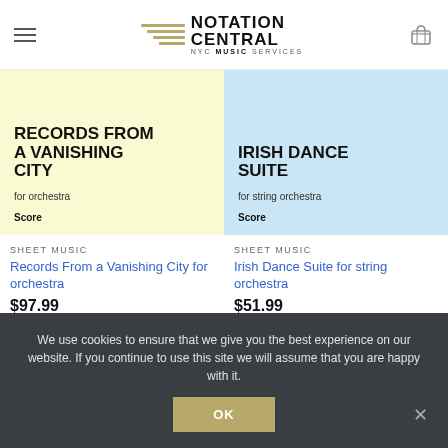Notation Central — NYC Music Services
[Figure (screenshot): Product card image: RECORDS FROM A VANISHING CITY for orchestra Score, yellow background]
[Figure (screenshot): Product card image: IRISH DANCE SUITE for string orchestra Score, light blue background]
SHEET MUSIC
Records From a Vanishing City for orchestra
$97.99
SHEET MUSIC
Irish Dance Suite for string orchestra
$51.99
We use cookies to ensure that we give you the best experience on our website. If you continue to use this site we will assume that you are happy with it.
OK